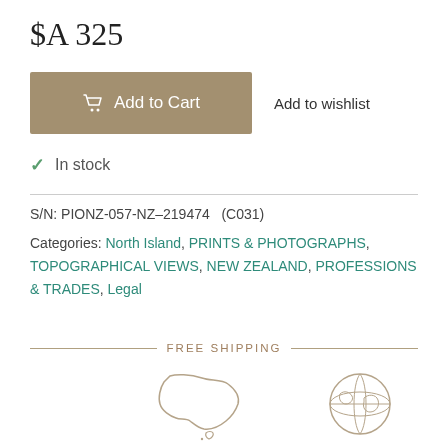$A 325
Add to Cart
Add to wishlist
✓ In stock
S/N: PIONZ-057-NZ–219474   (C031)
Categories: North Island, PRINTS & PHOTOGRAPHS, TOPOGRAPHICAL VIEWS, NEW ZEALAND, PROFESSIONS & TRADES, Legal
FREE SHIPPING
[Figure (illustration): Outline map of Australia]
[Figure (illustration): Globe/world icon outline]